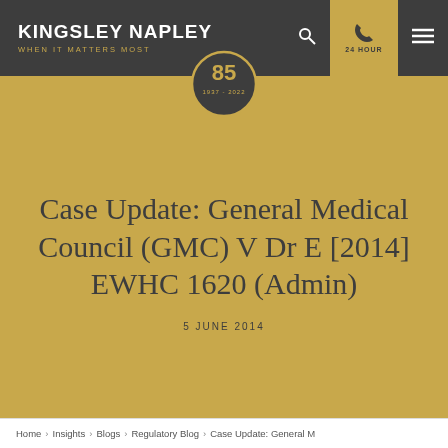KINGSLEY NAPLEY — WHEN IT MATTERS MOST
[Figure (logo): Kingsley Napley 85th anniversary badge (1937-2022), circular dark badge with gold border and gold text]
Case Update: General Medical Council (GMC) V Dr E [2014] EWHC 1620 (Admin)
5 JUNE 2014
Home › Insights › Blogs › Regulatory Blog › Case Update: General M